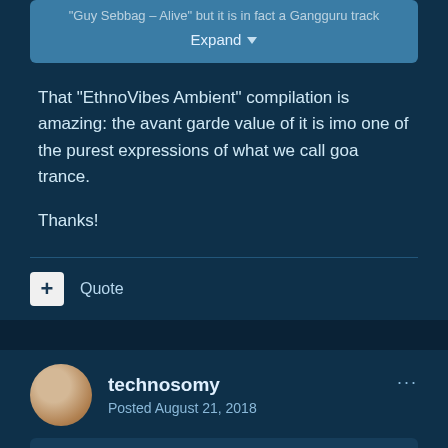"Guy Sebbag - Alive" but it is in fact a Gangguru track
Expand
That "EthnoVibes Ambient" compilation is amazing: the avant garde value of it is imo one of the purest expressions of what we call goa trance.

Thanks!
Quote
technosomy
Posted August 21, 2018
On 8/21/2018 at 5:36 PM, draeke said: